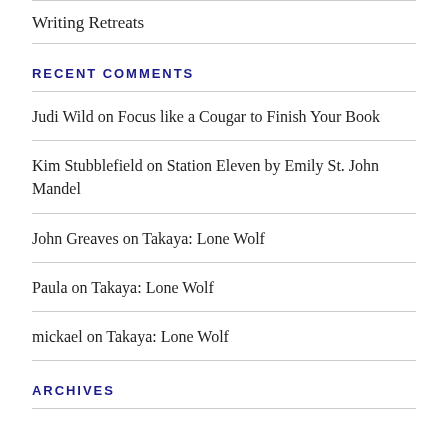Writing Retreats
RECENT COMMENTS
Judi Wild on Focus like a Cougar to Finish Your Book
Kim Stubblefield on Station Eleven by Emily St. John Mandel
John Greaves on Takaya: Lone Wolf
Paula on Takaya: Lone Wolf
mickael on Takaya: Lone Wolf
ARCHIVES